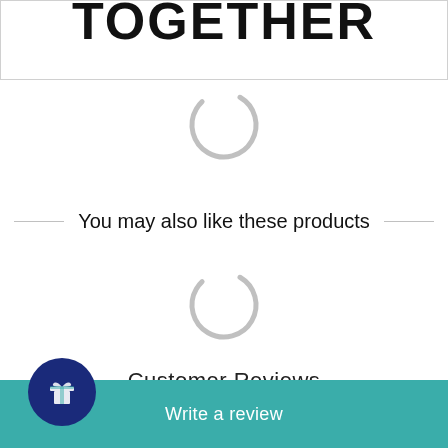TOGETHER
[Figure (illustration): Circular loading spinner icon, gray arc]
You may also like these products
[Figure (illustration): Circular loading spinner icon, gray arc]
Customer Reviews
[Figure (other): Five star rating icons (empty/outline stars in gold/yellow)]
Be the first to write a review
Write a review
[Figure (illustration): Navy blue circle badge with a gift box icon]